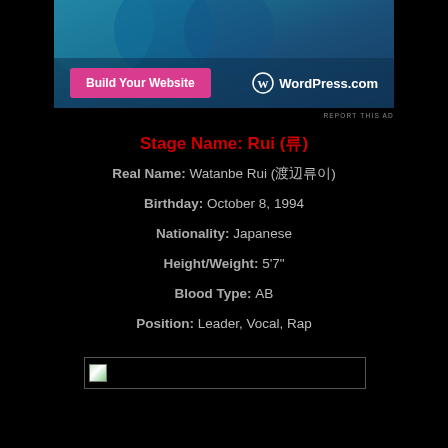[Figure (screenshot): WordPress.com advertisement banner with 'Build Your Website' pink button and WordPress.com logo on dark blue/teal gradient background with circles]
REPORT THIS AD
Stage Name: Rui (류)
Real Name: Watanbe Rui (渡辺류이)
Birthday: October 8, 1994
Nationality: Japanese
Height/Weight: 5'7"
Blood Type: AB
Position: Leader, Vocal, Rap
[Figure (photo): Broken image placeholder with small image icon in top-left corner]